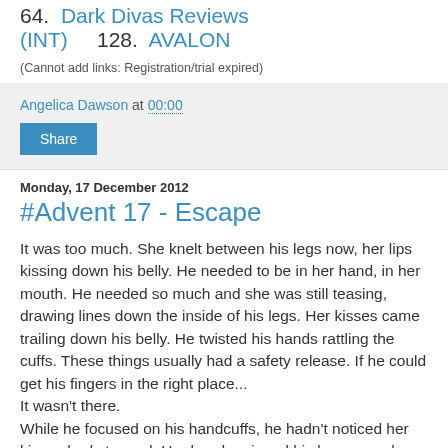64. Dark Divas Reviews (INT)    128. AVALON
(Cannot add links: Registration/trial expired)
Angelica Dawson at 00:00
Share
Monday, 17 December 2012
#Advent 17 - Escape
It was too much. She knelt between his legs now, her lips kissing down his belly. He needed to be in her hand, in her mouth. He needed so much and she was still teasing, drawing lines down the inside of his legs. Her kisses came trailing down his belly. He twisted his hands rattling the cuffs. These things usually had a safety release. If he could get his fingers in the right place...
It wasn't there.
While he focused on his handcuffs, he hadn't noticed her kisses had stopped. Her hands gripped his knees as she